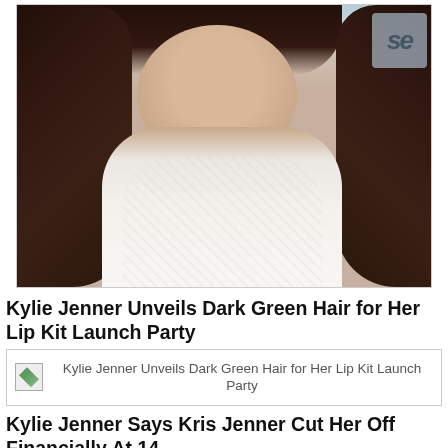[Figure (photo): Woman with long dark wavy hair wearing a white sleeveless top, photographed at an event with a banner in the background]
Kylie Jenner Unveils Dark Green Hair for Her Lip Kit Launch Party
[Figure (photo): Broken image placeholder with alt text: Kylie Jenner Unveils Dark Green Hair for Her Lip Kit Launch Party]
Kylie Jenner Says Kris Jenner Cut Her Off Financially At 14